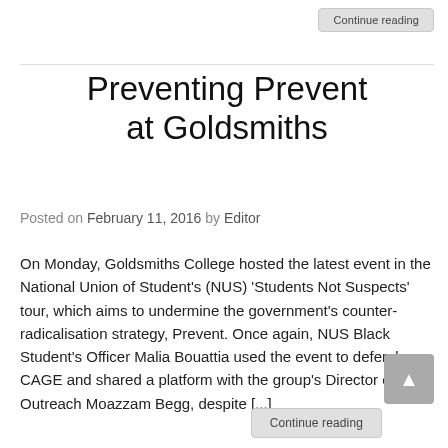Continue reading
Preventing Prevent at Goldsmiths
Posted on February 11, 2016 by Editor
On Monday, Goldsmiths College hosted the latest event in the National Union of Student's (NUS) 'Students Not Suspects' tour, which aims to undermine the government's counter-radicalisation strategy, Prevent. Once again, NUS Black Student's Officer Malia Bouattia used the event to defend CAGE and shared a platform with the group's Director of Outreach Moazzam Begg, despite [...]
Continue reading